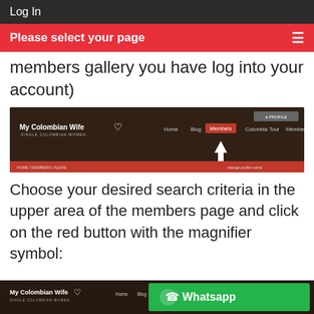Log In
Please select your page
members gallery you have log into your account)
[Figure (screenshot): Screenshot of My Colombian Wife website header showing navigation menu with Members tab highlighted in red and an arrow pointing to it. Navigation includes Home, Blog, Members, Colombia, Tour, Membership, Contact Us.]
Choose your desired search criteria in the upper area of the members page and click on the red button with the magnifier symbol:
[Figure (screenshot): Partial screenshot of My Colombian Wife website showing navigation bar at the bottom of the page, with a Whatsapp button overlay.]